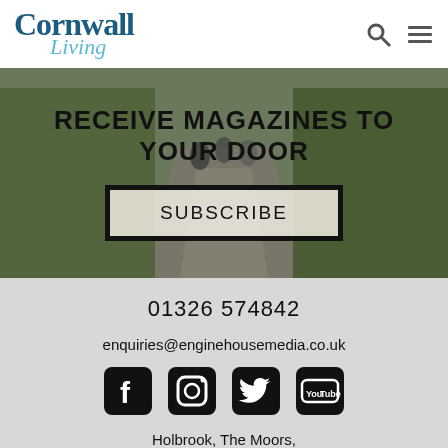Cornwall Living
[Figure (screenshot): Hero image of cyclists on a country lane with hedge-lined banks, overlaid with text 'RECEIVE MAGAZINES TO YOUR DOOR' and a SUBSCRIBE button]
01326 574842
enquiries@enginehousemedia.co.uk
[Figure (other): Social media icons: Facebook, Instagram, Twitter, YouTube]
Holbrook, The Moors, Porthleven, Cornwall TR13 9JX